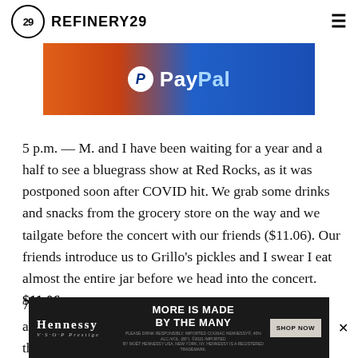REFINERY29
[Figure (other): PayPal advertisement banner with orange/blue gradient background and PayPal logo]
5 p.m. — M. and I have been waiting for a year and a half to see a bluegrass show at Red Rocks, as it was postponed soon after COVID hit. We grab some drinks and snacks from the grocery store on the way and we tailgate before the concert with our friends ($11.06). Our friends introduce us to Grillo's pickles and I swear I eat almost the entire jar before we head into the concert. $11.06
7 p.m. — The opener is pretty awful; we make jokes about how it [text cut off] ait for them t[text cut off] for
[Figure (other): Hennessy V.S.O.P Privilege advertisement: MORE IS MADE BY THE MANY, SHOP NOW button]